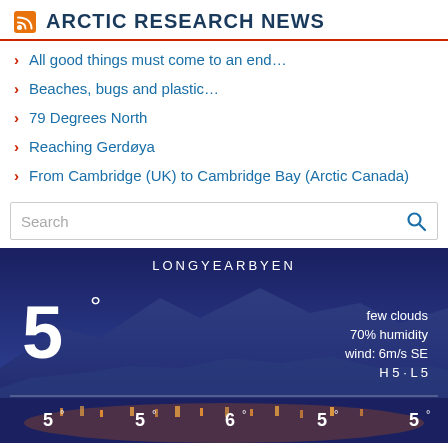ARCTIC RESEARCH NEWS
All good things must come to an end…
Beaches, bugs and plastic…
79 Degrees North
Reaching Gerdøya
From Cambridge (UK) to Cambridge Bay (Arctic Canada)
[Figure (infographic): Weather widget for Longyearbyen showing temperature 5°, few clouds, 70% humidity, wind: 6m/s SE, H 5 · L 5, with forecast row showing 5° 5° 6° 5° 5°, mountain landscape background at dusk]